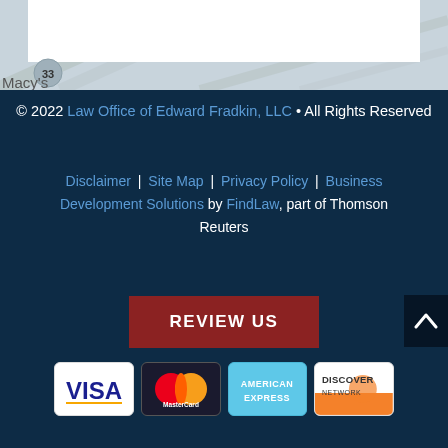[Figure (map): Partial map screenshot showing street layout with Macy's label and route circle marker (33)]
© 2022 Law Office of Edward Fradkin, LLC • All Rights Reserved
Disclaimer | Site Map | Privacy Policy | Business Development Solutions by FindLaw, part of Thomson Reuters
REVIEW US
[Figure (infographic): Payment method icons: Visa, MasterCard, American Express, Discover Network]